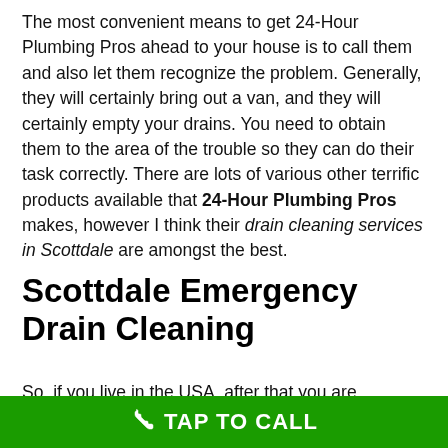The most convenient means to get 24-Hour Plumbing Pros ahead to your house is to call them and also let them recognize the problem. Generally, they will certainly bring out a van, and they will certainly empty your drains. You need to obtain them to the area of the trouble so they can do their task correctly. There are lots of various other terrific products available that 24-Hour Plumbing Pros makes, however I think their drain cleaning services in Scottdale are amongst the best.
Scottdale Emergency Drain Cleaning
So, if you live in the USA, after that you are probably aware of emergency drain cleaning. These are places where a sewer pipe or drain unexpectedly bursts or gets clogged. In lots of instances, this is caused by a broken pipe or a partly obstructed pipe. When this takes place,
TAP TO CALL